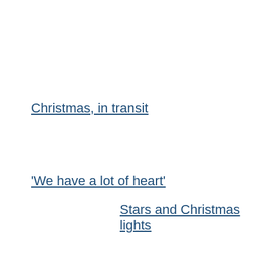Christmas, in transit
'We have a lot of heart'
Stars and Christmas lights